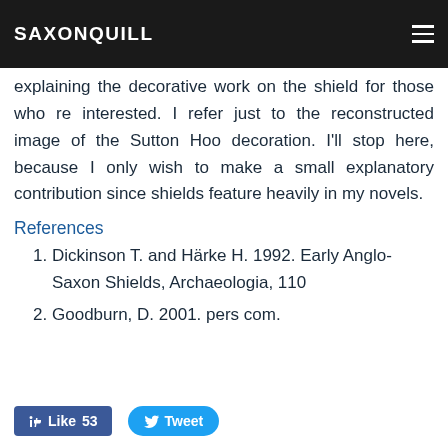SAXONQUILL
foil are attached to the rim by fluted clips and rivets cited also many scholarly works detailing and explaining the decorative work on the shield for those who re interested. I refer just to the reconstructed image of the Sutton Hoo decoration. I'll stop here, because I only wish to make a small explanatory contribution since shields feature heavily in my novels.
References
Dickinson T. and Härke H. 1992. Early Anglo-Saxon Shields, Archaeologia, 110
Goodburn, D. 2001. pers com.
[Figure (other): Like button (53 likes) and Tweet button social sharing buttons at the bottom of the page]